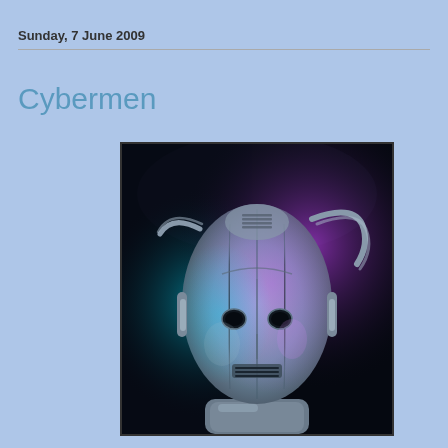Sunday, 7 June 2009
Cybermen
[Figure (photo): Close-up photo of a Cyberman helmet/head from Doctor Who, rendered in silver with purple and cyan lighting against a dark background. The helmet features the classic Cyberman design with ear handles, eye holes, and a mouth grille.]